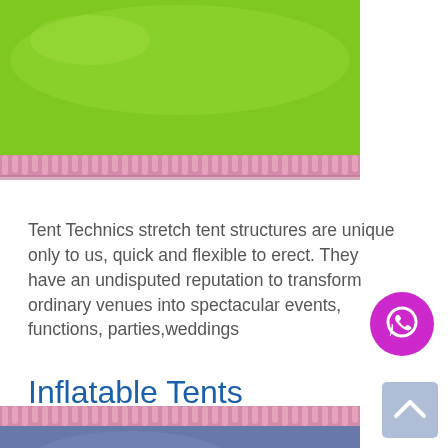[Figure (photo): Green tent fabric with pink decorative fringe/trim along the bottom edge]
Tent Technics stretch tent structures are unique only to us, quick and flexible to erect. They have an undisputed reputation to transform ordinary venues into spectacular events, functions, parties,weddings
[Figure (illustration): WhatsApp contact button - magenta/purple circular icon]
Inflatable Tents
[Figure (photo): Blue/slate colored tent fabric with pink decorative fringe/trim along the top edge]
[Figure (illustration): Back to top arrow button - light blue/grey square with upward chevron]